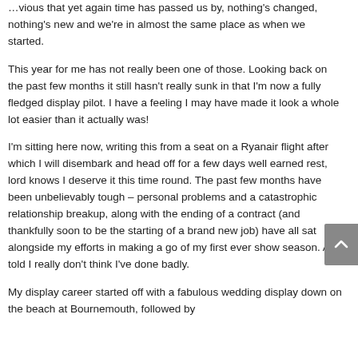…vious that yet again time has passed us by, nothing's changed, nothing's new and we're in almost the same place as when we started.
This year for me has not really been one of those. Looking back on the past few months it still hasn't really sunk in that I'm now a fully fledged display pilot. I have a feeling I may have made it look a whole lot easier than it actually was!
I'm sitting here now, writing this from a seat on a Ryanair flight after which I will disembark and head off for a few days well earned rest, lord knows I deserve it this time round. The past few months have been unbelievably tough – personal problems and a catastrophic relationship breakup, along with the ending of a contract (and thankfully soon to be the starting of a brand new job) have all sat alongside my efforts in making a go of my first ever show season. All told I really don't think I've done badly.
My display career started off with a fabulous wedding display down on the beach at Bournemouth, followed by